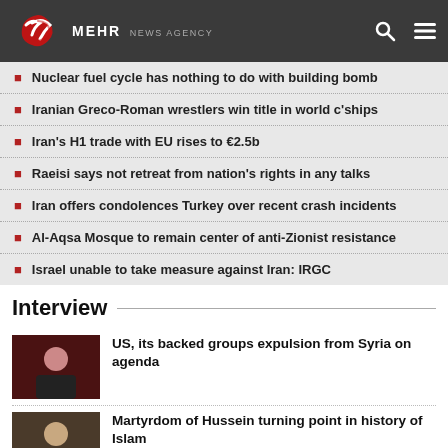MEHR NEWS AGENCY
Nuclear fuel cycle has nothing to do with building bomb
Iranian Greco-Roman wrestlers win title in world c'ships
Iran's H1 trade with EU rises to €2.5b
Raeisi says not retreat from nation's rights in any talks
Iran offers condolences Turkey over recent crash incidents
Al-Aqsa Mosque to remain center of anti-Zionist resistance
Israel unable to take measure against Iran: IRGC
Interview
US, its backed groups expulsion from Syria on agenda
Martyrdom of Hussein turning point in history of Islam